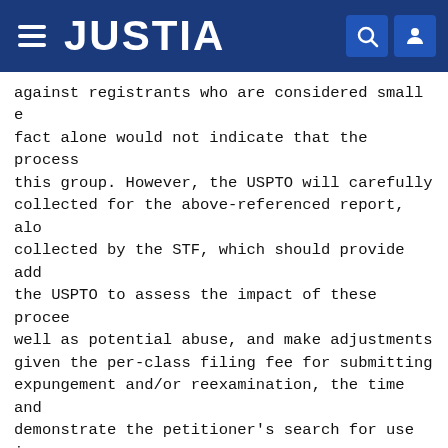JUSTIA
against registrants who are considered small e fact alone would not indicate that the process this group. However, the USPTO will carefully collected for the above-referenced report, alo collected by the STF, which should provide add the USPTO to assess the impact of these procee well as potential abuse, and make adjustments given the per-class filing fee for submitting expungement and/or reexamination, the time and demonstrate the petitioner's search for use in trade and advertising, and the potential ramif 11.18 of submitting a petition for an improper expects that petitioners will take care to sub appropriately challenge all goods and/or servi nonuse.
B. Real Party in Interest